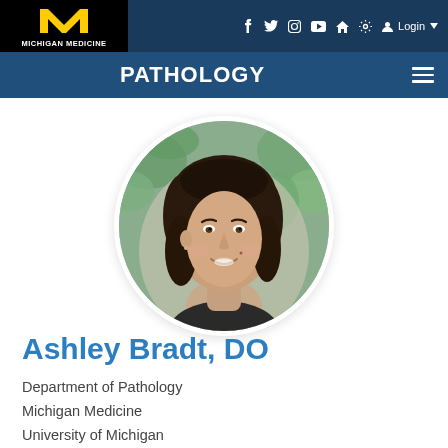Michigan Medicine | PATHOLOGY | f t Instagram YouTube Home Settings Login
[Figure (photo): Circular headshot photo of Ashley Bradt, DO — a woman with dark shoulder-length hair, smiling, with blurred green plant foliage in the background.]
Ashley Bradt, DO
Department of Pathology
Michigan Medicine
University of Michigan